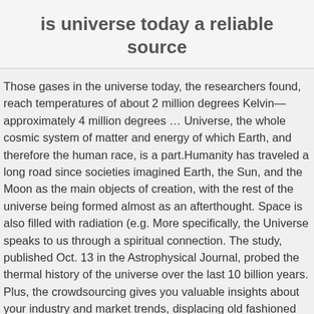is universe today a reliable source
Those gases in the universe today, the researchers found, reach temperatures of about 2 million degrees Kelvin—approximately 4 million degrees … Universe, the whole cosmic system of matter and energy of which Earth, and therefore the human race, is a part.Humanity has traveled a long road since societies imagined Earth, the Sun, and the Moon as the main objects of creation, with the rest of the universe being formed almost as an afterthought. Space is also filled with radiation (e.g. More specifically, the Universe speaks to us through a spiritual connection. The study, published Oct. 13 in the Astrophysical Journal, probed the thermal history of the universe over the last 10 billion years. Plus, the crowdsourcing gives you valuable insights about your industry and market trends, displacing old fashioned resources like polls or … leftion while next, more practically, we probe the Universe with